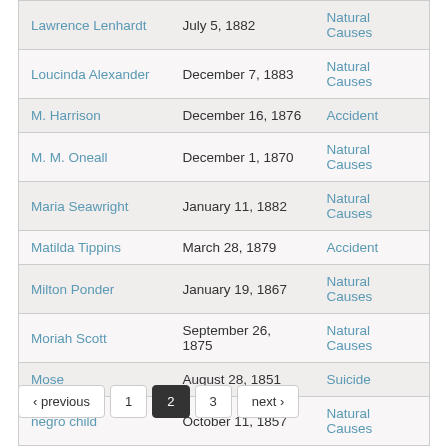| Name | Date | Cause |
| --- | --- | --- |
| Lawrence Lenhardt | July 5, 1882 | Natural Causes |
| Loucinda Alexander | December 7, 1883 | Natural Causes |
| M. Harrison | December 16, 1876 | Accident |
| M. M. Oneall | December 1, 1870 | Natural Causes |
| Maria Seawright | January 11, 1882 | Natural Causes |
| Matilda Tippins | March 28, 1879 | Accident |
| Milton Ponder | January 19, 1867 | Natural Causes |
| Moriah Scott | September 26, 1875 | Natural Causes |
| Mose | August 28, 1851 | Suicide |
| negro child | October 11, 1857 | Natural Causes |
‹ previous  1  2  3  next ›